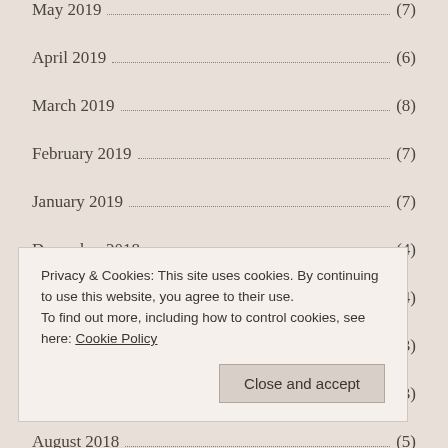May 2019 (7)
April 2019 (6)
March 2019 (8)
February 2019 (7)
January 2019 (7)
December 2018 (4)
November 2018 (4)
October 2018 (3)
September 2018 (3)
August 2018 (5)
Privacy & Cookies: This site uses cookies. By continuing to use this website, you agree to their use.
To find out more, including how to control cookies, see here: Cookie Policy